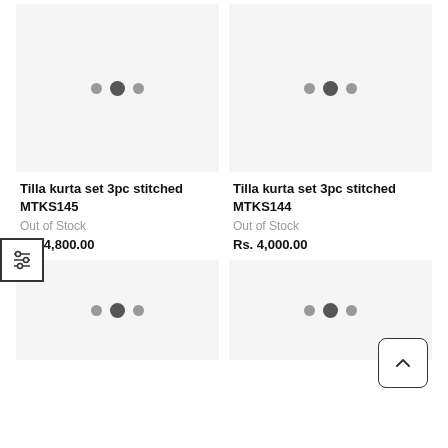[Figure (photo): Product image placeholder for Tilla kurta set 3pc stitched MTKS145 with three navigation dots]
[Figure (photo): Product image placeholder for Tilla kurta set 3pc stitched MTKS144 with three navigation dots]
Tilla kurta set 3pc stitched MTKS145
Out of Stock
Rs. 4,800.00
Tilla kurta set 3pc stitched MTKS144
Out of Stock
Rs. 4,000.00
[Figure (photo): Product image placeholder bottom left with three navigation dots]
[Figure (photo): Product image placeholder bottom right with three navigation dots]